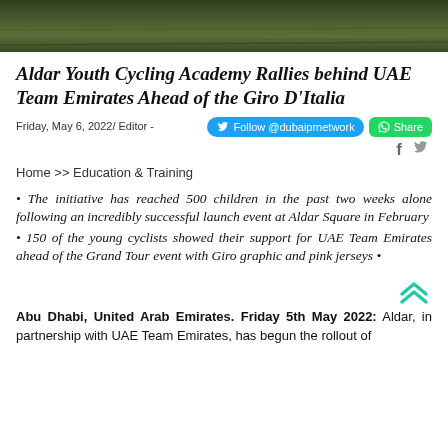[Figure (photo): Green outdoor/landscape hero image at the top of the page]
Aldar Youth Cycling Academy Rallies behind UAE Team Emirates Ahead of the Giro D'Italia
Friday, May 6, 2022/ Editor -
Home >> Education & Training
The initiative has reached 500 children in the past two weeks alone following an incredibly successful launch event at Aldar Square in February
150 of the young cyclists showed their support for UAE Team Emirates ahead of the Grand Tour event with Giro graphic and pink jerseys •
Abu Dhabi, United Arab Emirates. Friday 5th May 2022: Aldar, in partnership with UAE Team Emirates, has begun the rollout of